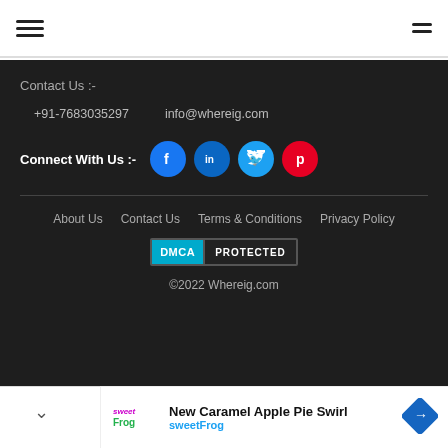Navigation bar with hamburger menu icons
Contact Us :-
+91-7683035297   info@whereig.com
Connect With Us :-  [Facebook] [LinkedIn] [Twitter] [Pinterest]
About Us   Contact Us   Terms & Conditions   Privacy Policy
[Figure (logo): DMCA PROTECTED badge]
©2022 Whereig.com
[Figure (infographic): Ad banner: New Caramel Apple Pie Swirl - sweetFrog with logo and direction icon]